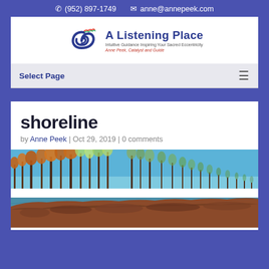(952) 897-1749  anne@annepeek.com
[Figure (logo): A Listening Place logo with spiral icon, tagline: Intuitive Guidance Inspiring Your Sacred Eccentricity, Anne Peek, Catalyst and Guide]
Select Page
shoreline
by Anne Peek | Oct 29, 2019 | 0 comments
[Figure (photo): Shoreline photo showing rocky Lake Superior shore with autumn trees and blue sky]